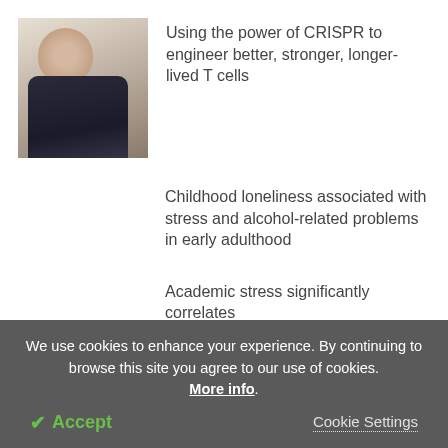[Figure (photo): A person holding their head in apparent stress or headache, wearing dark jacket, head bowed]
Using the power of CRISPR to engineer better, stronger, longer-lived T cells
Childhood loneliness associated with stress and alcohol-related problems in early adulthood
Academic stress significantly correlates to psychological well-being in students
We use cookies to enhance your experience. By continuing to browse this site you agree to our use of cookies. More info.
✓ Accept
Cookie Settings